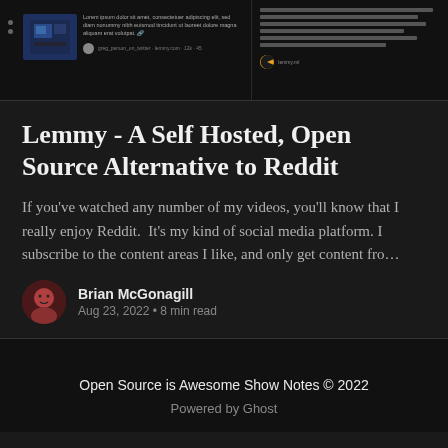[Figure (screenshot): Screenshot of a Reddit-like interface showing a post with thumbnail, lorem ipsum text placeholder, and a right sidebar with text lines and a Lemmy/Pac-Man logo icon.]
Lemmy - A Self Hosted, Open Source Alternative to Reddit
If you've watched any number of my videos, you'll know that I really enjoy Reddit.  It's my kind of social media platform. I subscribe to the content areas I like, and only get content fro…
Brian McGonagill
Aug 23, 2022 • 8 min read
Open Source is Awesome Show Notes © 2022
Powered by Ghost